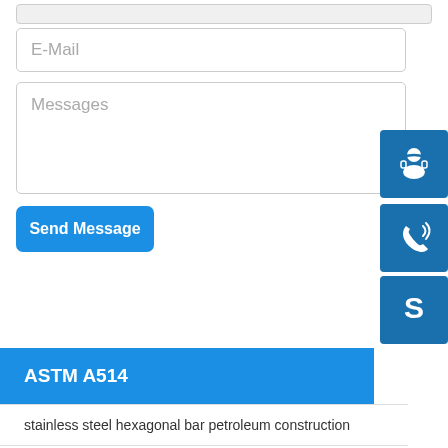E-Mail
Messages
Send Message
[Figure (illustration): Blue square icon with headset/customer support symbol]
[Figure (illustration): Blue square icon with phone/call symbol]
[Figure (illustration): Blue square icon with Skype logo symbol]
ASTM A514
stainless steel hexagonal bar petroleum construction
carbon steel socket welding
fiche technique a42cp
astm embossed 310s stainless steel plate